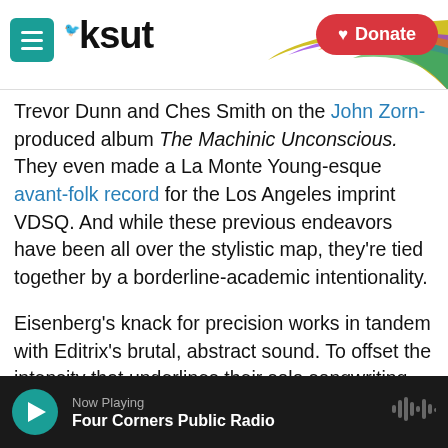[Figure (screenshot): KSUT public radio website header with teal menu button, KSUT logo, rainbow decorative arc, and red Donate button]
Trevor Dunn and Ches Smith on the John Zorn-produced album The Machinic Unconscious. They even made a La Monte Young-esque avant-folk record for the Los Angeles imprint VDSQ. And while these previous endeavors have been all over the stylistic map, they're tied together by a borderline-academic intentionality.
Eisenberg's knack for precision works in tandem with Editrix's brutal, abstract sound. To offset the intensity that underlines their solo songwriting, Editrix embraces a spirit of compromise. The trio writes collectively and has in-depth discussions to
[Figure (screenshot): Audio player bar showing Now Playing: Four Corners Public Radio with teal play button and waveform icon]